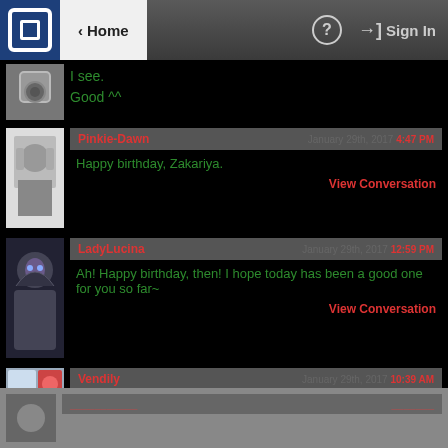[Figure (screenshot): Navigation bar with logo, Home button, help icon, and Sign In button]
I see.
Good ^^
Pinkie-Dawn   January 29th, 2017 4:47 PM
Happy birthday, Zakariya.
View Conversation
LadyLucina   January 29th, 2017 12:59 PM
Ah! Happy birthday, then! I hope today has been a good one for you so far~
View Conversation
Vendily   January 29th, 2017 10:39 AM
Happy Birthday!
View Conversation